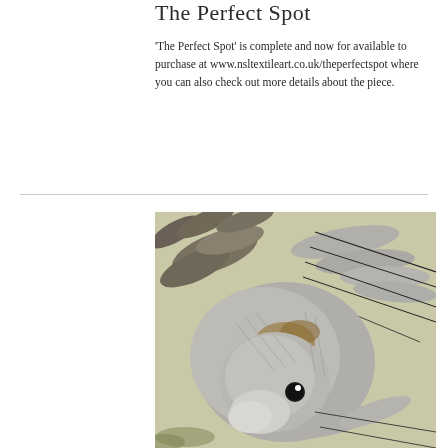The Perfect Spot
'The Perfect Spot' is complete and now for available to purchase at www.nsltextileart.co.uk/theperfectspot where you can also check out more details about the piece.
[Figure (photo): Close-up photograph of a textile/embroidery artwork depicting a hare or rabbit with detailed stitching in grey, brown and cream tones on a pale green background]